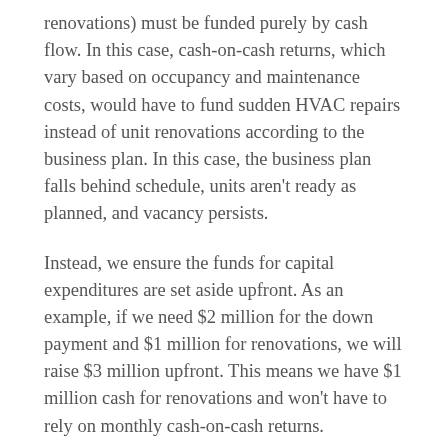renovations) must be funded purely by cash flow. In this case, cash-on-cash returns, which vary based on occupancy and maintenance costs, would have to fund sudden HVAC repairs instead of unit renovations according to the business plan. In this case, the business plan falls behind schedule, units aren't ready as planned, and vacancy persists.
Instead, we ensure the funds for capital expenditures are set aside upfront. As an example, if we need $2 million for the down payment and $1 million for renovations, we will raise $3 million upfront. This means we have $1 million cash for renovations and won't have to rely on monthly cash-on-cash returns.